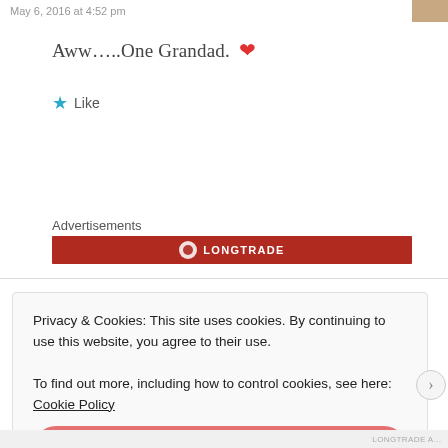May 6, 2016 at 4:52 pm
Aww…..One Grandad. ❤
★ Like
Advertisements
Privacy & Cookies: This site uses cookies. By continuing to use this website, you agree to their use.
To find out more, including how to control cookies, see here: Cookie Policy
Close and accept